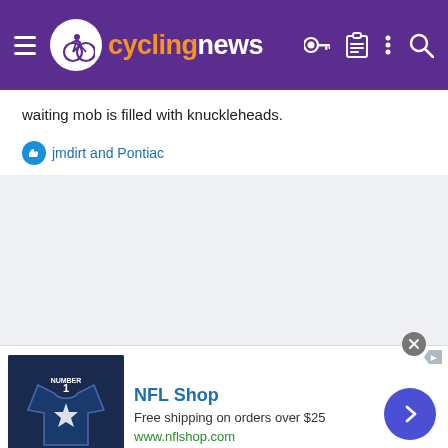cyclingnews
waiting mob is filled with knuckleheads.
jmdirt and Pontiac
[Figure (other): NFL Shop advertisement banner showing a Cowboys jersey with 'Number 1 Dad' text, with title 'NFL Shop', subtitle 'Free shipping on orders over $25', url 'www.nflshop.com']